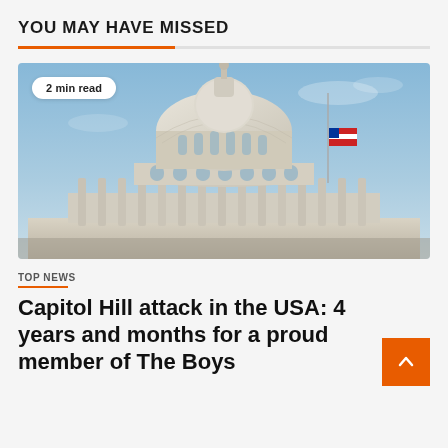YOU MAY HAVE MISSED
[Figure (photo): Photograph of the United States Capitol Building dome against a blue sky, with an American flag at half-mast on a flagpole to the right. Badge overlay reads '2 min read'.]
TOP NEWS
Capitol Hill attack in the USA: 4 years and months for a proud member of The Boys